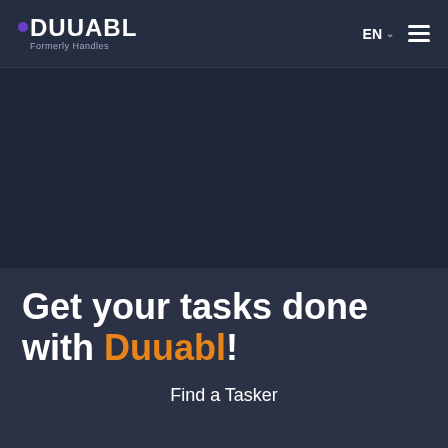DUUABL Formerly Handles | EN | ☰
[Figure (screenshot): Dark background hero image area, video or image placeholder with dark blue-gray color]
Get your tasks done with Duuabl!
Find a Tasker